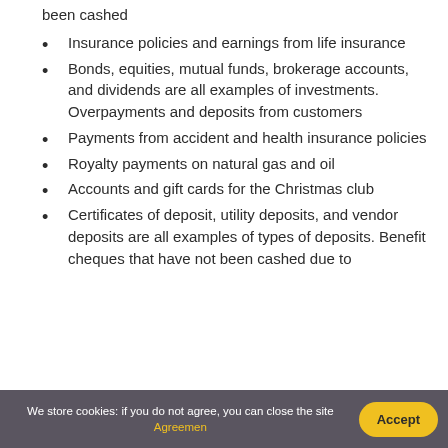been cashed
Insurance policies and earnings from life insurance
Bonds, equities, mutual funds, brokerage accounts, and dividends are all examples of investments. Overpayments and deposits from customers
Payments from accident and health insurance policies
Royalty payments on natural gas and oil
Accounts and gift cards for the Christmas club
Certificates of deposit, utility deposits, and vendor deposits are all examples of types of deposits. Benefit cheques that have not been cashed due to
We store cookies: if you do not agree, you can close the site Agreemen